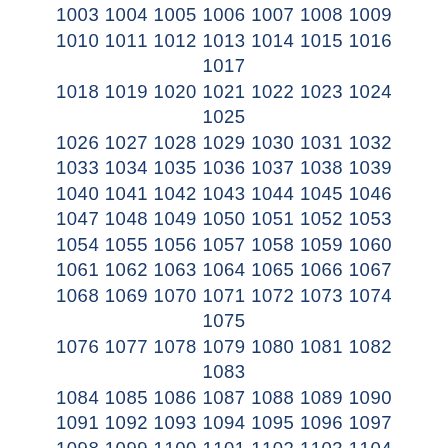1003 1004 1005 1006 1007 1008 1009 1010 1011 1012 1013 1014 1015 1016 1017 1018 1019 1020 1021 1022 1023 1024 1025 1026 1027 1028 1029 1030 1031 1032 1033 1034 1035 1036 1037 1038 1039 1040 1041 1042 1043 1044 1045 1046 1047 1048 1049 1050 1051 1052 1053 1054 1055 1056 1057 1058 1059 1060 1061 1062 1063 1064 1065 1066 1067 1068 1069 1070 1071 1072 1073 1074 1075 1076 1077 1078 1079 1080 1081 1082 1083 1084 1085 1086 1087 1088 1089 1090 1091 1092 1093 1094 1095 1096 1097 1098 1099 1100 1101 1102 1103 1104 1105 1106 1107 1108 1109 1110 1111 1112 1113 1114 1115 1116 1117 1118 1119 1120 1121 1122 1123 1124 1125 1126 1127 1128 1129 1130 1131 1132 1133 1134 1135 1136 1137 1138 1139 1140 1141 1142 1143 1144 1145 1146 1147 1148 1149 1150 1151 1152 1153 1154 1155 1156 1157 1158 1159 1160 1161 1162 1163 1164 1165 1166 1167 1168 1169